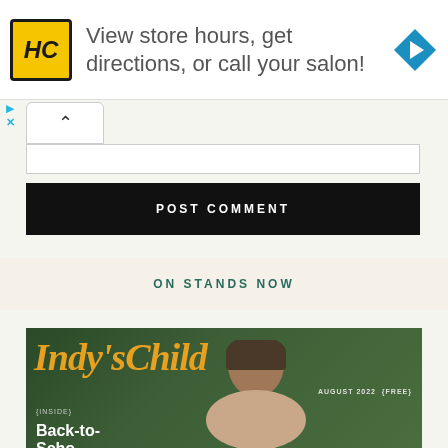[Figure (infographic): Advertisement banner for HairClub (HC) salon with yellow logo, text 'View store hours, get directions, or call your salon!' and blue navigation arrow icon]
[Figure (screenshot): Collapse/accordion UI element with caret up icon and input bar below]
POST COMMENT
ON STANDS NOW
[Figure (photo): Indy's Child magazine cover, August 2022 (FREE), featuring a child, with text '{INSIDE} Back-to-School...' and the Indy's Child logo in gold italic serif font on a dark green/forest background]